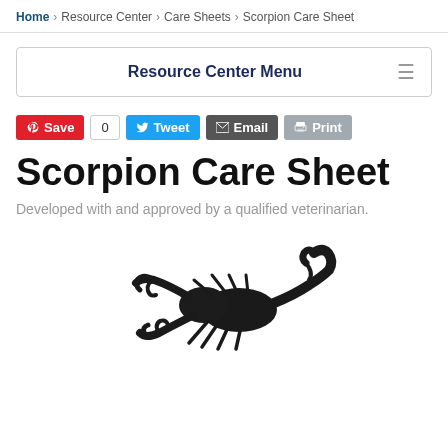Home > Resource Center > Care Sheets > Scorpion Care Sheet
Resource Center Menu
[Figure (infographic): Social sharing buttons: Pinterest Save, count 0, Tweet, Email, Print]
Scorpion Care Sheet
Developed with and approved by a qualified veterinarian.
[Figure (photo): A black scorpion photographed on a white background, facing left with claws extended and tail arched.]